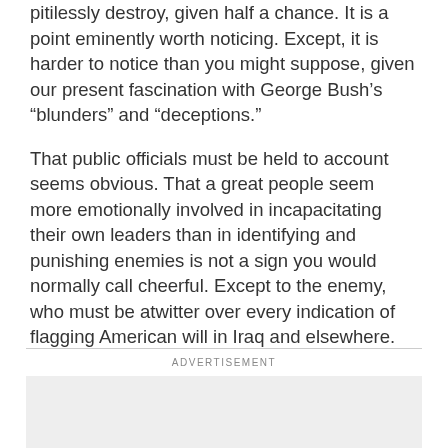pitilessly destroy, given half a chance. It is a point eminently worth noticing. Except, it is harder to notice than you might suppose, given our present fascination with George Bush's “blunders” and “deceptions.”
That public officials must be held to account seems obvious. That a great people seem more emotionally involved in incapacitating their own leaders than in identifying and punishing enemies is not a sign you would normally call cheerful. Except to the enemy, who must be atwitter over every indication of flagging American will in Iraq and elsewhere.
ADVERTISEMENT